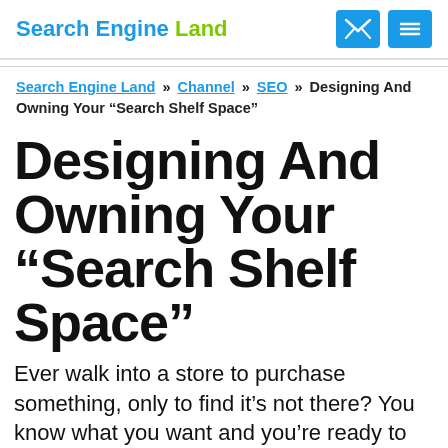Search Engine Land
Search Engine Land » Channel » SEO » Designing And Owning Your “Search Shelf Space”
Designing And Owning Your “Search Shelf Space”
Ever walk into a store to purchase something, only to find it’s not there? You know what you want and you’re ready to